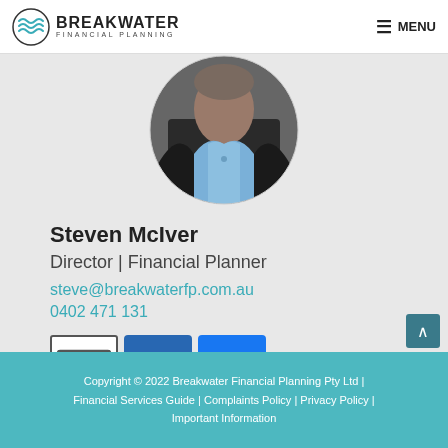Breakwater Financial Planning — MENU
[Figure (photo): Circular cropped headshot of Steven McIver, a man in a dark blazer and light blue shirt]
Steven McIver
Director | Financial Planner
steve@breakwaterfp.com.au
0402 471 131
[Figure (infographic): Three social media icons: email envelope, LinkedIn, Facebook]
Copyright © 2022 Breakwater Financial Planning Pty Ltd | Financial Services Guide | Complaints Policy | Privacy Policy | Important Information